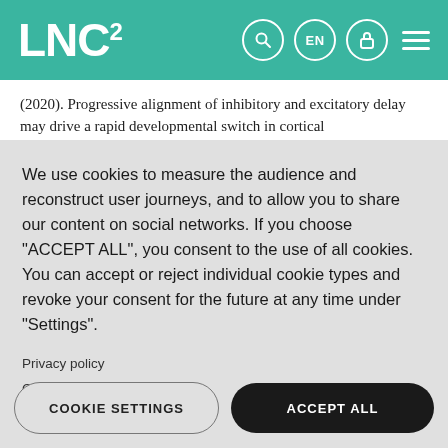LNC²
(2020). Progressive alignment of inhibitory and excitatory delay may drive a rapid developmental switch in cortical
We use cookies to measure the audience and reconstruct user journeys, and to allow you to share our content on social networks. If you choose "ACCEPT ALL", you consent to the use of all cookies. You can accept or reject individual cookie types and revoke your consent for the future at any time under "Settings".
Privacy policy
Cookie Policy
COOKIE SETTINGS
ACCEPT ALL